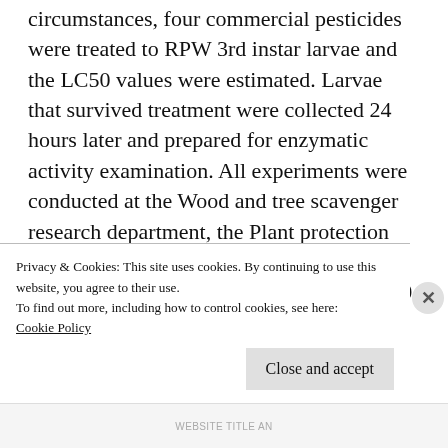circumstances, four commercial pesticides were treated to RPW 3rd instar larvae and the LC50 values were estimated. Larvae that survived treatment were collected 24 hours later and prepared for enzymatic activity examination. All experiments were conducted at the Wood and tree scavenger research department, the Plant protection research institute, and the Agricultural research centre. According to the low LC50 value obtained, Dr. Sure® was the
Privacy & Cookies: This site uses cookies. By continuing to use this website, you agree to their use.
To find out more, including how to control cookies, see here:
Cookie Policy
Close and accept